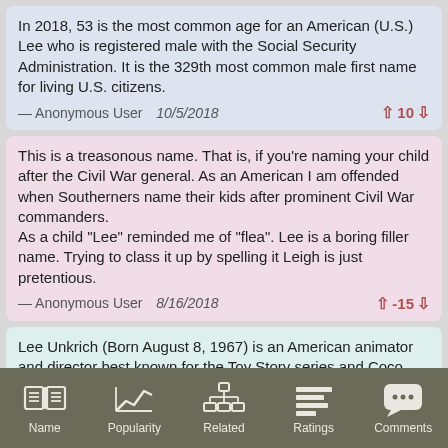In 2018, 53 is the most common age for an American (U.S.) Lee who is registered male with the Social Security Administration. It is the 329th most common male first name for living U.S. citizens.
— Anonymous User  10/5/2018  ↑ 10 ↓
This is a treasonous name. That is, if you're naming your child after the Civil War general. As an American I am offended when Southerners name their kids after prominent Civil War commanders.
As a child "Lee" reminded me of "flea". Lee is a boring filler name. Trying to class it up by spelling it Leigh is just pretentious.
— Anonymous User  8/16/2018  ↑ -15 ↓
Lee Unkrich (Born August 8, 1967) is an American animator and director best known for the Toy Story series and Coco.
— Gregory Woodrow  7/3/2018  ↑ 9 ↓
Name  Popularity  Related  Ratings  Comments